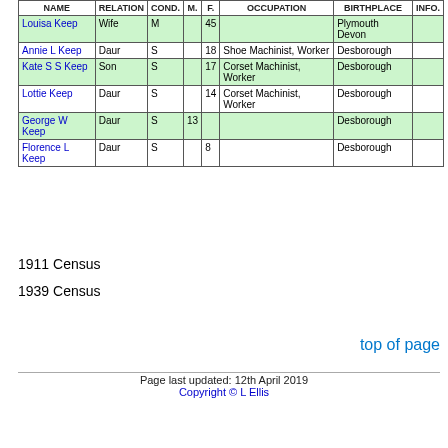| NAME | RELATION | COND. | M. | F. | OCCUPATION | BIRTHPLACE | INFO. |
| --- | --- | --- | --- | --- | --- | --- | --- |
| Louisa Keep | Wife | M |  | 45 |  | Plymouth Devon |  |
| Annie L Keep | Daur | S |  | 18 | Shoe Machinist, Worker | Desborough |  |
| Kate S S Keep | Son | S |  | 17 | Corset Machinist, Worker | Desborough |  |
| Lottie Keep | Daur | S |  | 14 | Corset Machinist, Worker | Desborough |  |
| George W Keep | Daur | S | 13 |  |  | Desborough |  |
| Florence L Keep | Daur | S |  | 8 |  | Desborough |  |
1911 Census
1939 Census
top of page
Page last updated: 12th April 2019
Copyright © L Ellis